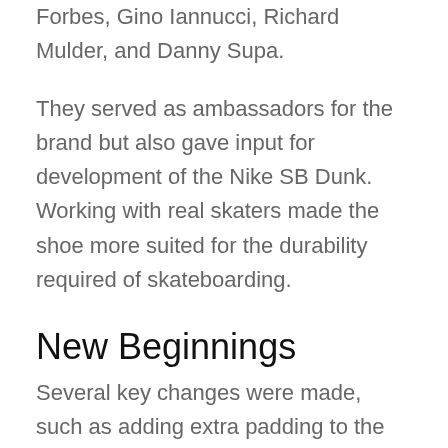Forbes, Gino Iannucci, Richard Mulder, and Danny Supa.
They served as ambassadors for the brand but also gave input for development of the Nike SB Dunk. Working with real skaters made the shoe more suited for the durability required of skateboarding.
New Beginnings
Several key changes were made, such as adding extra padding to the insole to absorb more impact. The sole was altered to provide users with more traction. However, the most obvious